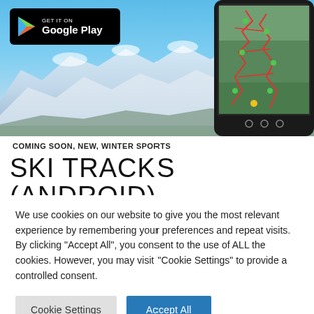[Figure (photo): Hero banner showing snow-capped mountain landscape under blue sky, with a smartphone displaying a ski trail map overlay on the right side, and a Google Play badge in the top-left corner.]
COMING SOON, NEW, WINTER SPORTS
SKI TRACKS (ANDROID)
We use cookies on our website to give you the most relevant experience by remembering your preferences and repeat visits. By clicking "Accept All", you consent to the use of ALL the cookies. However, you may visit "Cookie Settings" to provide a controlled consent.
Cookie Settings | Accept All